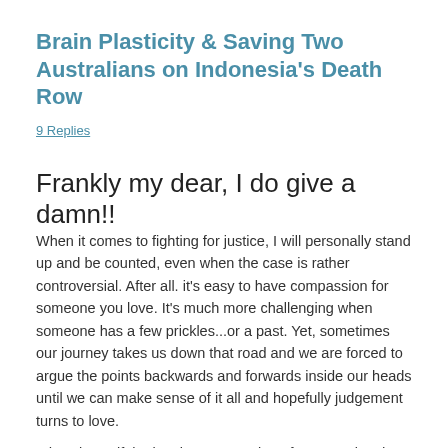Brain Plasticity & Saving Two Australians on Indonesia's Death Row
9 Replies
Frankly my dear, I do give a damn!!
When it comes to fighting for justice, I will personally stand up and be counted, even when the case is rather controversial. After all. it's easy to have compassion for someone you love. It's much more challenging when someone has a few prickles...or a past. Yet, sometimes our journey takes us down that road and we are forced to argue the points backwards and forwards inside our heads until we can make sense of it all and hopefully judgement turns to love.
I don't know if the imminent execution of two convicted